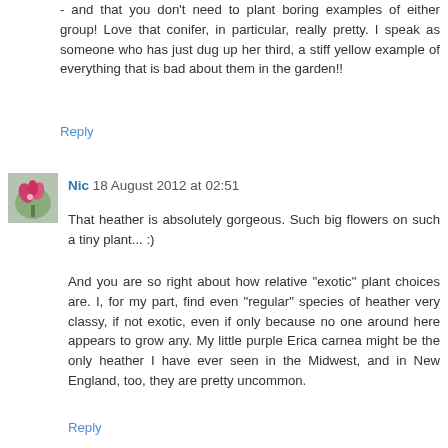- and that you don't need to plant boring examples of either group! Love that conifer, in particular, really pretty. I speak as someone who has just dug up her third, a stiff yellow example of everything that is bad about them in the garden!!
Reply
Nic  18 August 2012 at 02:51
[Figure (photo): Small avatar image with pink/red floral plant photo]
That heather is absolutely gorgeous. Such big flowers on such a tiny plant... :)
And you are so right about how relative "exotic" plant choices are. I, for my part, find even "regular" species of heather very classy, if not exotic, even if only because no one around here appears to grow any. My little purple Erica carnea might be the only heather I have ever seen in the Midwest, and in New England, too, they are pretty uncommon.
Reply